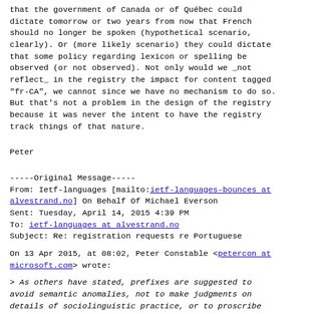that the government of Canada or of Québec could dictate tomorrow or two years from now that French should no longer be spoken (hypothetical scenario, clearly). Or (more likely scenario) they could dictate that some policy regarding lexicon or spelling be observed (or not observed). Not only would we _not reflect_ in the registry the impact for content tagged "fr-CA", we cannot since we have no mechanism to do so. But that's not a problem in the design of the registry because it was never the intent to have the registry track things of that nature.
Peter
-----Original Message-----
From: Ietf-languages [mailto:ietf-languages-bounces at alvestrand.no] On Behalf Of Michael Everson
Sent: Tuesday, April 14, 2015 4:39 PM
To: ietf-languages at alvestrand.no
Subject: Re: registration requests re Portuguese
On 13 Apr 2015, at 08:02, Peter Constable <petercon at microsoft.com> wrote:
> As others have stated, prefixes are suggested to avoid semantic anomalies, not to make judgments on details of sociolinguistic practice, or to proscribe valid tag construction.